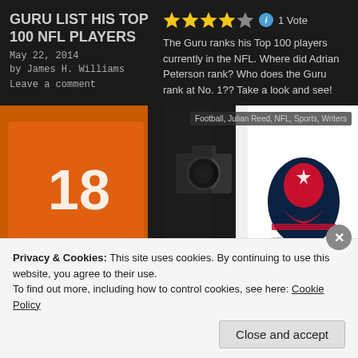GURU LIST HIS TOP 100 NFL PLAYERS
May 22, 2014
by James H. Williams
Leave a comment
The Guru ranks his Top 100 players currently in the NFL. Where did Adrian Peterson rank? Who does the Guru rank at No. 1?? Take a look and see!
[Figure (photo): Two NFL players in orange Broncos #18 and white Patriots jerseys facing each other, with a photographer in background. Tags: Football, Julian Reed, NFL, Sports, Writers]
NFL PLAYOFF
Privacy & Cookies: This site uses cookies. By continuing to use this website, you agree to their use.
To find out more, including how to control cookies, see here: Cookie Policy
Close and accept